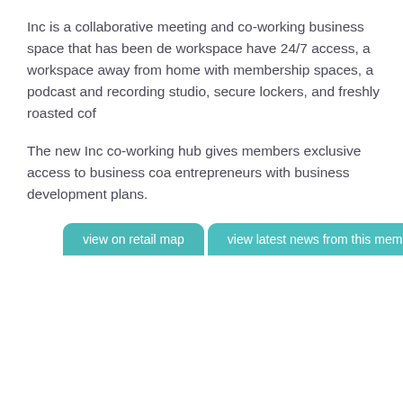Inc is a collaborative meeting and co-working business space that has been de workspace have 24/7 access, a workspace away from home with membership spaces, a podcast and recording studio, secure lockers, and freshly roasted cof
The new Inc co-working hub gives members exclusive access to business coa entrepreneurs with business development plans.
view on retail map
view latest news from this member
Write a review on this member
Name   [input]   Location   [input]
Please enter your review here